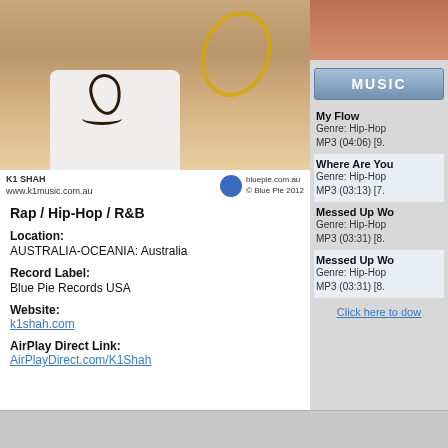[Figure (photo): K1 Shah artist photo showing male artist in white tank top with tattoo and gold chain, bluepie.com.au watermark]
K1 SHAH
www.k1music.com.au | bluepie.com.au © Blue Pie 2012
Rap / Hip-Hop / R&B
Location:
AUSTRALIA-OCEANIA: Australia
Record Label:
Blue Pie Records USA
Website:
k1shah.com
AirPlay Direct Link:
AirPlayDirect.com/K1Shah
[Figure (photo): Partial artist photo in top right corner]
MUSIC
My Flow
Genre: Hip-Hop
MP3 (04:06) [9.
Where Are You
Genre: Hip-Hop
MP3 (03:13) [7.
Messed Up Wo
Genre: Hip-Hop
MP3 (03:31) [8.
Messed Up Wo
Genre: Hip-Hop
MP3 (03:31) [8.
Click here to dow
Biography